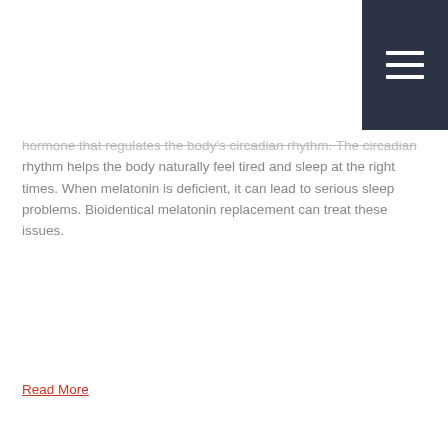hormone that regulates the body's circadian rhythm. The circadian rhythm helps the body naturally feel tired and sleep at the right times. When melatonin is deficient, it can lead to serious sleep problems. Bioidentical melatonin replacement can treat these issues.
Read More
[Figure (photo): A Black woman with short curly hair holding her head in her hands, appearing stressed or having a headache, wearing a light blue top]
Bioidentical Pregnenolone Replacement Therapy
Improve Mood, Cognitive Function & Your Sex Drive